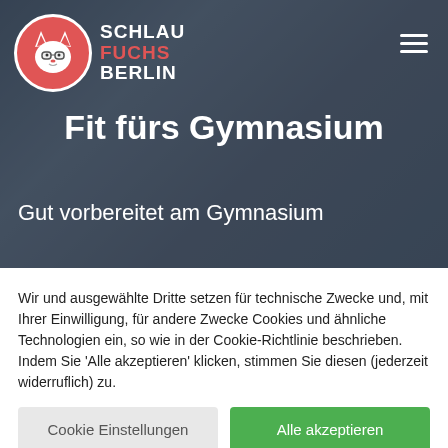[Figure (logo): Schlau Fuchs Berlin logo: red circle with white fox wearing glasses, next to text SCHLAU FUCHS BERLIN in white and red]
Fit fürs Gymnasium
Gut vorbereitet am Gymnasium
Wir und ausgewählte Dritte setzen für technische Zwecke und, mit Ihrer Einwilligung, für andere Zwecke Cookies und ähnliche Technologien ein, so wie in der Cookie-Richtlinie beschrieben. Indem Sie 'Alle akzeptieren' klicken, stimmen Sie diesen (jederzeit widerruflich) zu.
Cookie Einstellungen
Alle akzeptieren